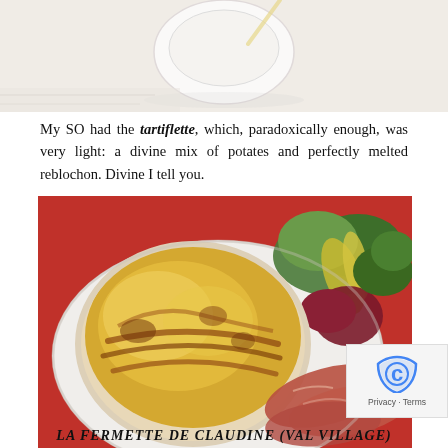[Figure (photo): Partial top photo showing a white bowl/plate on a table with white tablecloth, partially cropped at top]
My SO had the tartiflette, which, paradoxically enough, was very light: a divine mix of potates and perfectly melted reblochon. Divine I tell you.
[Figure (photo): Close-up food photo of a tartiflette (potato and reblochon gratin) in a round white ceramic dish, served on a white plate with mixed green salad, red beetroot, and slices of cured ham on a red tablecloth]
LA FERMETTE DE CLAUDINE (VAL VILLAGE)